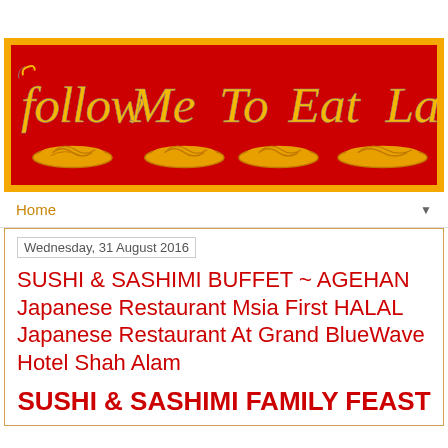[Figure (logo): Follow Me To Eat La blog logo — decorative text on red background with gold border, showing noodle dish illustrations under each word]
Home ▼
Wednesday, 31 August 2016
SUSHI & SASHIMI BUFFET ~ AGEHAN Japanese Restaurant Msia First HALAL Japanese Restaurant At Grand BlueWave Hotel Shah Alam
SUSHI & SASHIMI FAMILY FEAST